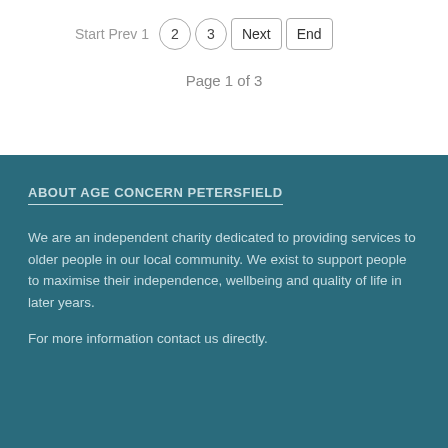Start Prev 1  2  3  Next  End
Page 1 of 3
ABOUT AGE CONCERN PETERSFIELD
We are an independent charity dedicated to providing services to older people in our local community. We exist to support people to maximise their independence, wellbeing and quality of life in later years.
For more information contact us directly.